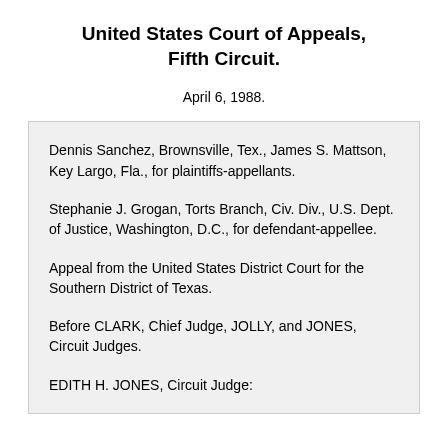United States Court of Appeals, Fifth Circuit.
April 6, 1988.
Dennis Sanchez, Brownsville, Tex., James S. Mattson, Key Largo, Fla., for plaintiffs-appellants.
Stephanie J. Grogan, Torts Branch, Civ. Div., U.S. Dept. of Justice, Washington, D.C., for defendant-appellee.
Appeal from the United States District Court for the Southern District of Texas.
Before CLARK, Chief Judge, JOLLY, and JONES, Circuit Judges.
EDITH H. JONES, Circuit Judge: